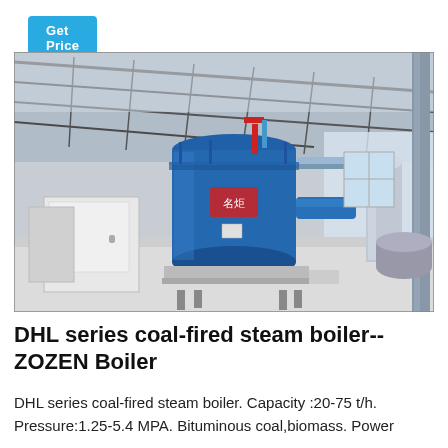Get Price
[Figure (photo): Industrial boiler facility interior showing a large blue cylindrical coal-fired steam boiler (DHL series by ZOZEN) installed in a spacious factory building with metal roof trusses, pipes, and related industrial equipment.]
DHL series coal-fired steam boiler--ZOZEN Boiler
DHL series coal-fired steam boiler. Capacity :20-75 t/h. Pressure:1.25-5.4 MPA. Bituminous coal,biomass. Power